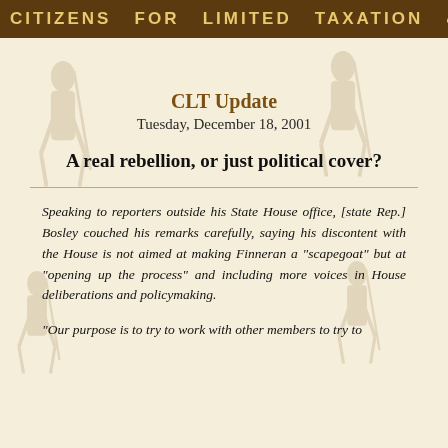CITIZENS  FOR  LIMITED  TAXATION  &  GOVERNMEN
CLT Update
Tuesday, December 18, 2001
A real rebellion, or just political cover?
Speaking to reporters outside his State House office, [state Rep.] Bosley couched his remarks carefully, saying his discontent with the House is not aimed at making Finneran a "scapegoat" but at "opening up the process" and including more voices in House deliberations and policymaking.
"Our purpose is to try to work with other members to try to